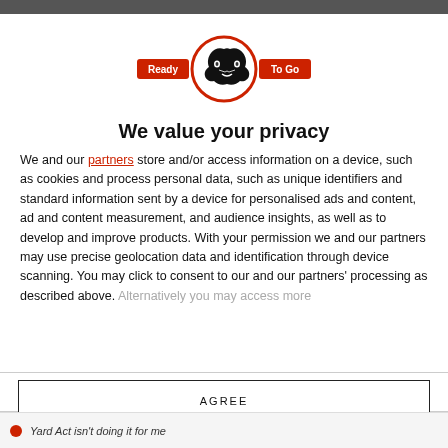[Figure (logo): Ready To Go logo with panther head in a red circle, with 'Ready' on red badge left and 'To Go' on red badge right]
We value your privacy
We and our partners store and/or access information on a device, such as cookies and process personal data, such as unique identifiers and standard information sent by a device for personalised ads and content, ad and content measurement, and audience insights, as well as to develop and improve products. With your permission we and our partners may use precise geolocation data and identification through device scanning. You may click to consent to our and our partners' processing as described above. Alternatively you may access more
AGREE
MORE OPTIONS
Yard Act isn't doing it for me